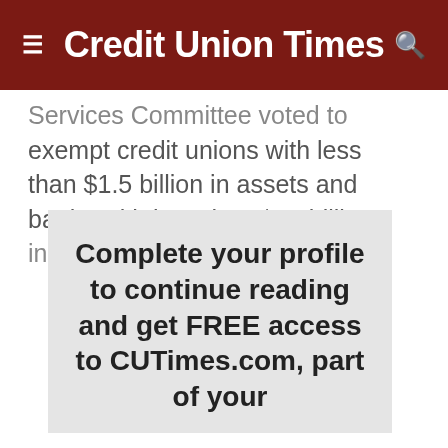Credit Union Times
Services Committee voted to exempt credit unions with less than $1.5 billion in assets and banks with less than $10 billion in assets from examinations by
[Figure (screenshot): Modal overlay box with text: Complete your profile to continue reading and get FREE access to CUTimes.com, part of your]